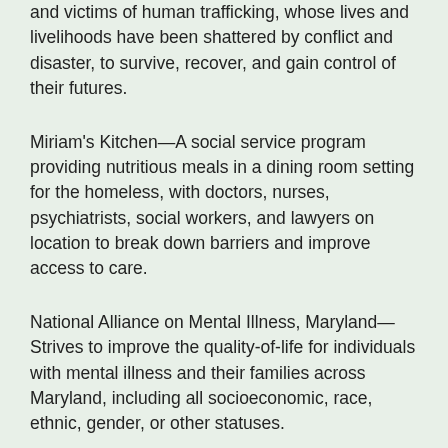and victims of human trafficking, whose lives and livelihoods have been shattered by conflict and disaster, to survive, recover, and gain control of their futures.
Miriam's Kitchen—A social service program providing nutritious meals in a dining room setting for the homeless, with doctors, nurses, psychiatrists, social workers, and lawyers on location to break down barriers and improve access to care.
National Alliance on Mental Illness, Maryland—Strives to improve the quality-of-life for individuals with mental illness and their families across Maryland, including all socioeconomic, race, ethnic, gender, or other statuses.
Rebuilding Together, Caroline County—Makes critical